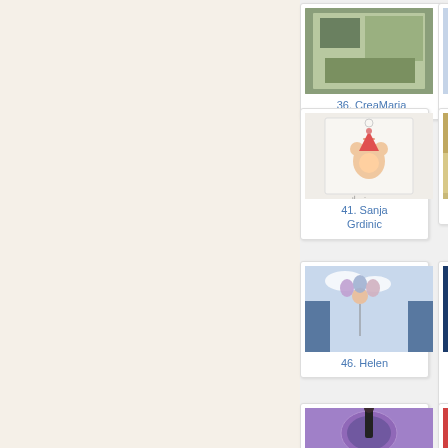[Figure (screenshot): Partial view of a crafting/stamping blog gallery page showing thumbnail grid of handmade cards and crafts with numbered entries. Left side shows cream/beige background. Right side shows grid entries: 36. CreaMaria, 37. Ky..., 41. Sanja Grdinic, 42. He..., 46. Helen, 47. Kor... Beat... Dzięk... dzięk..., 51. Linda, 52. He...]